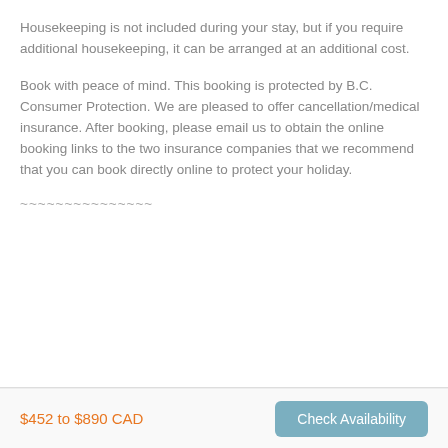Housekeeping is not included during your stay, but if you require additional housekeeping, it can be arranged at an additional cost.
Book with peace of mind. This booking is protected by B.C. Consumer Protection. We are pleased to offer cancellation/medical insurance. After booking, please email us to obtain the online booking links to the two insurance companies that we recommend that you can book directly online to protect your holiday.
~~~~~~~~~~~~~~~
$452 to $890 CAD
Check Availability